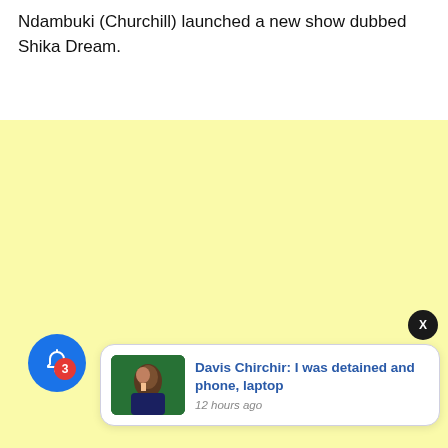Ndambuki (Churchill) launched a new show dubbed Shika Dream.
[Figure (other): Yellow advertisement placeholder area]
[Figure (other): Notification popup card showing 'Davis Chirchir: I was detained and phone, laptop' with thumbnail image, timestamp '12 hours ago', close button X, and blue bell notification button with badge count 3]